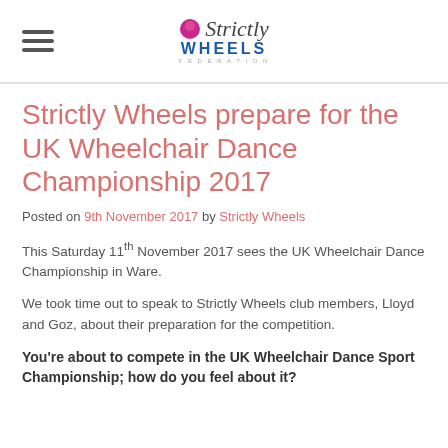Strictly Wheels [logo]
Strictly Wheels prepare for the UK Wheelchair Dance Championship 2017
Posted on 9th November 2017 by Strictly Wheels
This Saturday 11th November 2017 sees the UK Wheelchair Dance Championship in Ware.
We took time out to speak to Strictly Wheels club members, Lloyd and Goz, about their preparation for the competition.
You're about to compete in the UK Wheelchair Dance Sport Championship; how do you feel about it?